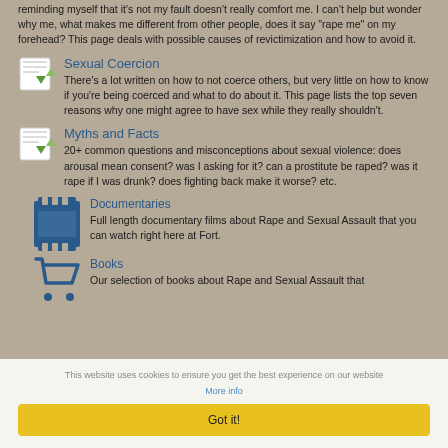reminding myself that it's not my fault doesn't really comfort me. I can't help but wonder why me, what makes me different from other people, does it say "rape me" on my forehead? This page deals with possible causes of revictimization and how to avoid it.
[Figure (illustration): Small document/page icon with green arrows]
Sexual Coercion
There's a lot written on how to not coerce others, but very little on how to know if you're being coerced and what to do about it. This page lists the top seven reasons why one might agree to have sex while they really shouldn't.
[Figure (illustration): Small document/page icon with green arrows]
Myths and Facts
20+ common questions and misconceptions about sexual violence: does arousal mean consent? was I asking for it? can a prostitute be raped? was it rape if I was drunk? does fighting back make it worse? etc.
[Figure (illustration): Film strip icon in dark blue]
Documentaries
Full length documentary films about Rape and Sexual Assault that you can watch right here at Fort.
[Figure (illustration): Shopping cart icon in dark blue]
Books
Our selection of books about Rape and Sexual Assault that
This website uses cookies to ensure you get the best experience on our website
More info
Got it!